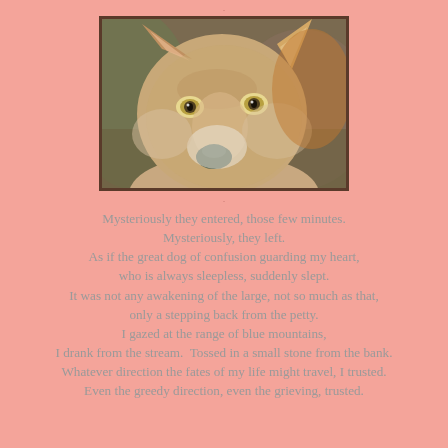[Figure (photo): Close-up photograph of a coyote or wolf face, looking directly at camera, brown and grey fur, yellow-green eyes, pink/dark nose, blurred natural background]
Mysteriously they entered, those few minutes.
Mysteriously, they left.
As if the great dog of confusion guarding my heart,
who is always sleepless, suddenly slept.
It was not any awakening of the large, not so much as that,
only a stepping back from the petty.
I gazed at the range of blue mountains,
I drank from the stream.  Tossed in a small stone from the bank.
Whatever direction the fates of my life might travel, I trusted.
Even the greedy direction, even the grieving, trusted.